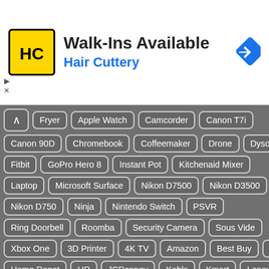[Figure (infographic): Hair Cuttery advertisement banner with yellow/black HC logo, text 'Walk-Ins Available' and 'Hair Cuttery' in blue, and a blue navigation arrow icon on the right.]
Fryer
Apple Watch
Camcorder
Canon T7i
Canon 90D
Chromebook
Coffeemaker
Drone
Dyson
Fitbit
GoPro Hero 8
Instant Pot
Kitchenaid Mixer
Laptop
Microsoft Surface
Nikon D7500
Nikon D3500
Nikon D750
Ninja
Nintendo Switch
PSVR
Ring Doorbell
Roomba
Security Camera
Sous Vide
Xbox One
3D Printer
4K TV
Amazon
Best Buy
Dell
Home Depot
HP
JCPenney
Kohls
Kmart
Lenovo
Lowes
Macys
Microsoft
Newegg
Office Depot
Sams Club
Samsung
Staples
Target
Verizon
Walmart
23andme
Canon
LOL Surprise
Nest
Nikon